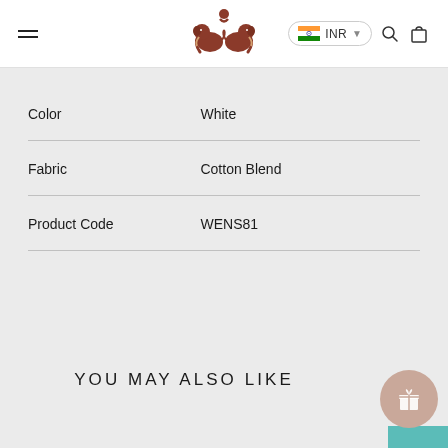Navigation header with hamburger menu, elephant logo, INR currency selector, search icon, and cart icon
| Attribute | Value |
| --- | --- |
| Color | White |
| Fabric | Cotton Blend |
| Product Code | WENS81 |
YOU MAY ALSO LIKE